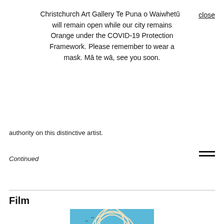Christchurch Art Gallery Te Puna o Waiwhetū will remain open while our city remains Orange under the COVID-19 Protection Framework. Please remember to wear a mask. Mā te wā, see you soon.
close
authority on this distinctive artist.
Continued
Film
[Figure (illustration): Illustration of a figure with long flowing hair-like tendrils against a blue sky background with birds.]